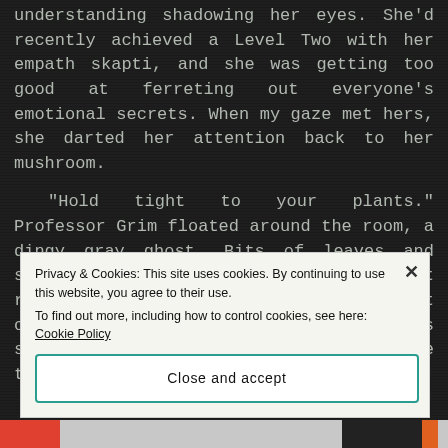understanding shadowing her eyes. She'd recently achieved a Level Two with her empath skapti, and she was getting too good at ferreting out everyone's emotional secrets. When my gaze met hers, she darted her attention back to her mushroom.
“Hold tight to your plants.” Professor Grim floated around the room, a dingy gray ghost. Bits of leaves and sticks he'd picked up in the forest rained down, hitting mushrooms that cringed and shot darts. “Don’t let its struggles fool you. It’s no more alive than a blade of grass.”
Privacy & Cookies: This site uses cookies. By continuing to use this website, you agree to their use.
To find out more, including how to control cookies, see here: Cookie Policy
Close and accept